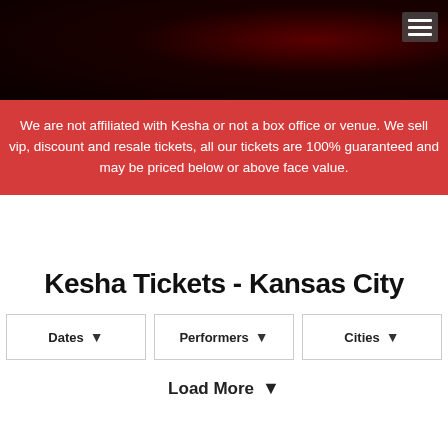[Figure (photo): Dark hero banner image with shadowy tree branches against a dark reddish-black background, with a hamburger menu icon in the top right corner]
We are not affiliated with Kesha or not a box office or venue. We sell vip, discount and resale tickets, all our tickets are 100% guaranteed and may be priced below or above face value.
Kesha Tickets - Kansas City
Dates ▾
Performers ▾
Cities ▾
Load More ▾